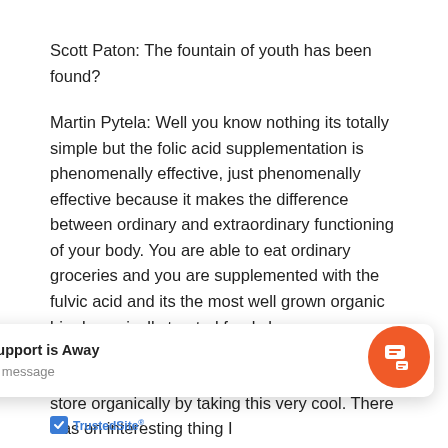Scott Paton: The fountain of youth has been found?
Martin Pytela: Well you know nothing its totally simple but the folic acid supplementation is phenomenally effective, just phenomenally effective because it makes the difference between ordinary and extraordinary functioning of your body. You are able to eat ordinary groceries and you are supplemented with the fulvic acid and its the most well grown organic bio dynamically treated foods because you are making up the difference between which you are able to get and what you should get.
Scott Paton: Right, right so eat at the grocery store organically by taking this very cool. There was on interesting thing I jus                                 ius gives you an idea of                                 alw
[Figure (screenshot): Chat support popup saying 'Chat support is Away' and 'Leave a message', with an orange chat button icon and TrustedSite badge at bottom left]